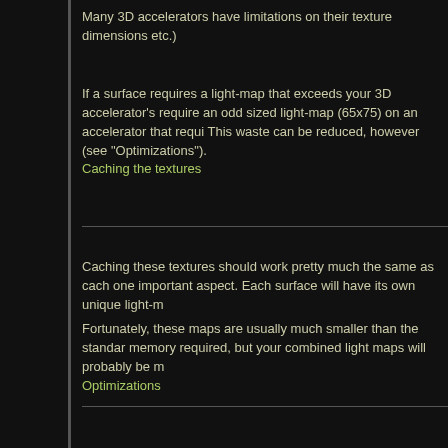Many 3D accelerators have limitations on their texture dimensions etc.)
If a surface requires a light-map that exceeds your 3D accelerator's require an odd sized light-map (65x75) on an accelerator that requi This waste can be reduced, however (see "Optimizations").
Caching the textures
Caching these textures should work pretty much the same as cach one important aspect. Each surface will have its own unique light-m
Fortunately, these maps are usually much smaller than the standar memory required, but your combined light maps will probably be m
Optimizations
There really are a lot of potential optimizations. For example, if you share edges, these surfaces can be combined into a single light-ma reduces potential wasted light-map texture space.
You could take this a step further and place smaller textures into th tricky.
Using n-gons rather than triangles for your data can effectively help
This list goes on...
Further reading...